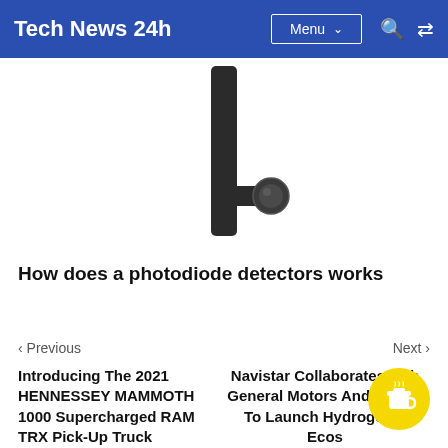Tech News 24h | Menu
[Figure (photo): Close-up photo of a black metallic cylindrical rod with a disc/button attachment, likely a photodiode detector component, on white background]
How does a photodiode detectors works
< Previous
Next >
Introducing The 2021 HENNESSEY MAMMOTH 1000 Supercharged RAM TRX Pick-Up Truck
Navistar Collaborates with General Motors And OneH2 To Launch Hydrogen T... Ecos...